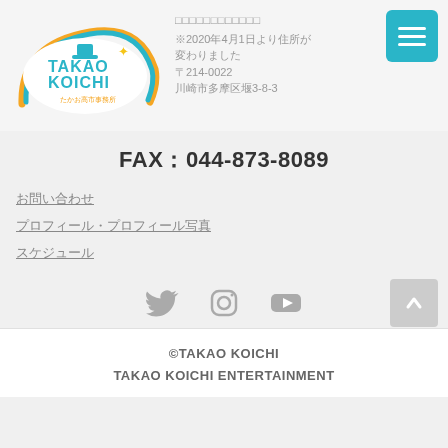[Figure (logo): TAKAO KOICHI logo with circular teal/orange arc design and top hat, subtitle たかお高市事務所]
※2020年4月1日より住所が変わりました〒214-0022川崎市多摩区堰3-8-3
FAX：044-873-8089
お問い合わせ
プロフィール・プロフィール写真
スケジュール
[Figure (infographic): Social media icons: Twitter bird, Instagram camera, YouTube play button]
©TAKAO KOICHI
TAKAO KOICHI ENTERTAINMENT